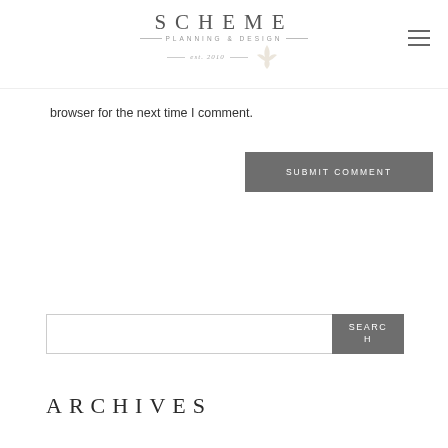SCHEME PLANNING & DESIGN est. 2010
browser for the next time I comment.
SUBMIT COMMENT
SEARCH
ARCHIVES